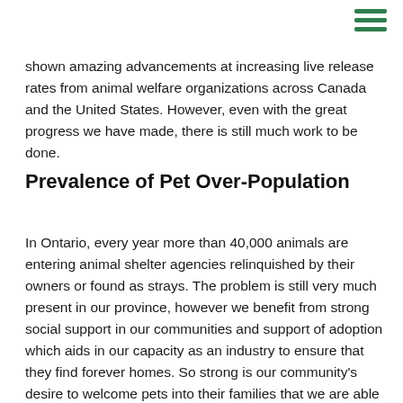shown amazing advancements at increasing live release rates from animal welfare organizations across Canada and the United States. However, even with the great progress we have made, there is still much work to be done.
Prevalence of Pet Over-Population
In Ontario, every year more than 40,000 animals are entering animal shelter agencies relinquished by their owners or found as strays. The problem is still very much present in our province, however we benefit from strong social support in our communities and support of adoption which aids in our capacity as an industry to ensure that they find forever homes. So strong is our community's desire to welcome pets into their families that we are able to support other more national, and North American wide programs to end